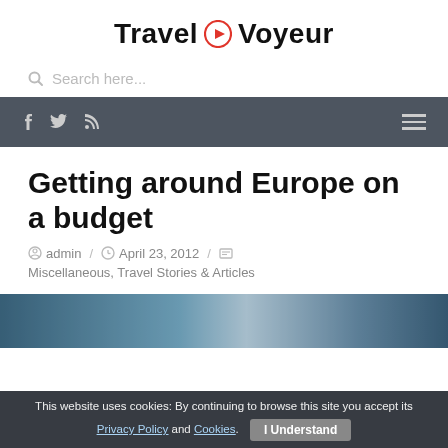Travel Voyeur
Search here...
[Figure (screenshot): Navigation bar with social media icons (Facebook, Twitter, RSS) on the left and hamburger menu on the right, dark gray background]
Getting around Europe on a budget
admin / April 23, 2012 / Miscellaneous, Travel Stories & Articles
[Figure (photo): Partial photograph showing a mountainous or coastal European landscape in blue/grey tones]
This website uses cookies: By continuing to browse this site you accept its Privacy Policy and Cookies. I Understand